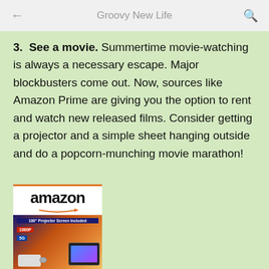Groovy New Life
3.  See a movie. Summertime movie-watching is always a necessary escape. Major blockbusters come out. Now, sources like Amazon Prime are giving you the option to rent and watch new released films. Consider getting a projector and a simple sheet hanging outside and do a popcorn-munching movie marathon!
[Figure (illustration): Amazon product advertisement showing the Amazon logo with orange arrow, and a projector screen product image with a blue/orange background, product labels, and a device showing colorful content.]